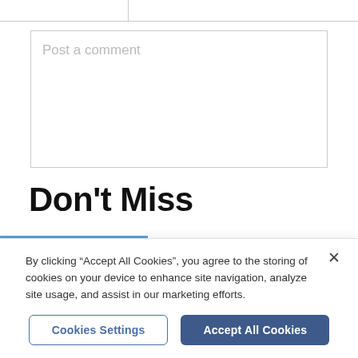[Figure (screenshot): Top input boxes partially visible at top of page, two input fields separated by border]
[Figure (screenshot): Post a comment textarea with placeholder text]
Don't Miss
[Figure (photo): Blue sky with tree tops visible, outdoor photo for article teaser]
Popular dog walking spot and fishing lake for sale
By clicking "Accept All Cookies", you agree to the storing of cookies on your device to enhance site navigation, analyze site usage, and assist in our marketing efforts.
Cookies Settings
Accept All Cookies